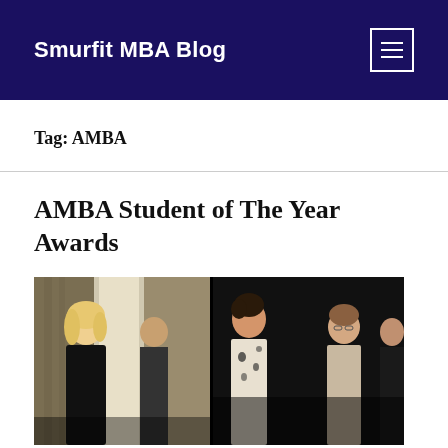Smurfit MBA Blog
Tag: AMBA
AMBA Student of The Year Awards
[Figure (photo): Group of people in formal attire at an awards ceremony, photographed in a venue with columns and curtains. Black and white photo showing multiple individuals including women in dresses.]